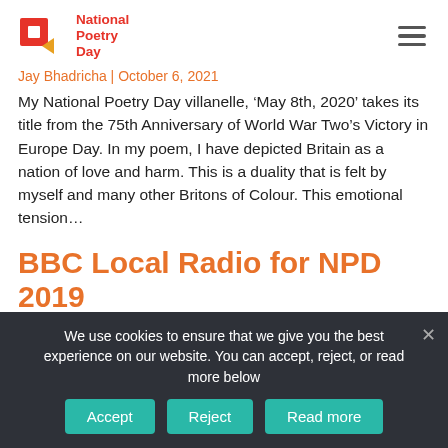National Poetry Day
Jay Bhadricha | October 6, 2021
My National Poetry Day villanelle, ‘May 8th, 2020’ takes its title from the 75th Anniversary of World War Two’s Victory in Europe Day. In my poem, I have depicted Britain as a nation of love and harm. This is a duality that is felt by myself and many other Britons of Colour. This emotional tension…
BBC Local Radio for NPD 2019
Jay Bhadricha | October 2, 2019
In 2019, we joined forces to challenge stereotypes and
We use cookies to ensure that we give you the best experience on our website. You can accept, reject, or read more below